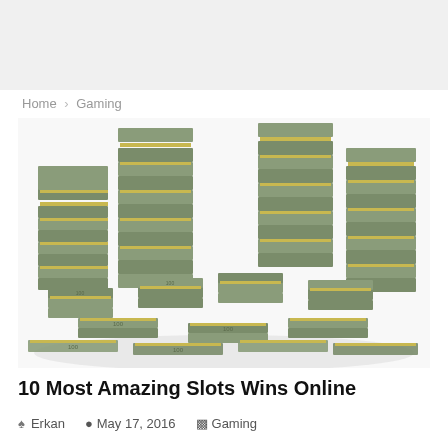Home > Gaming
[Figure (photo): Large pile of stacked bundles of US dollar bills ($100 notes), arranged in tall stacks, viewed at an angle against a white background.]
10 Most Amazing Slots Wins Online
Erkan  May 17, 2016  Gaming